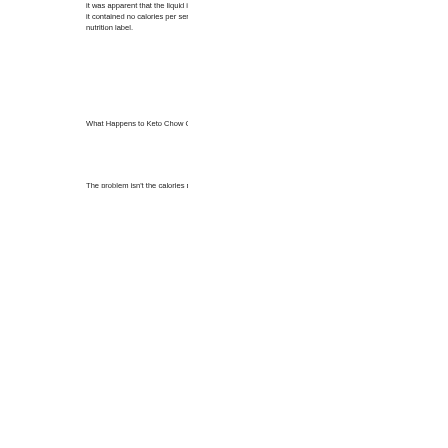it was apparent that the liquid in the drink was not liquid in the bottle, which indicates it contained no calories per serving. That indicates there may be a problem with the nutrition label.
What Happens to Keto Chow Calorie Loss Per Serving?
The problem isn't the calories per serving. It's how the calories are distributed within the liquid. If there are more calories in the liquid than there are in the powder, the amount of calories per serving is not the same as the calories per ounce.
The chart below provides an overview of liquid calories before and after we added additional fat that could have affected results.
Before Adding Added Fat – After Adding